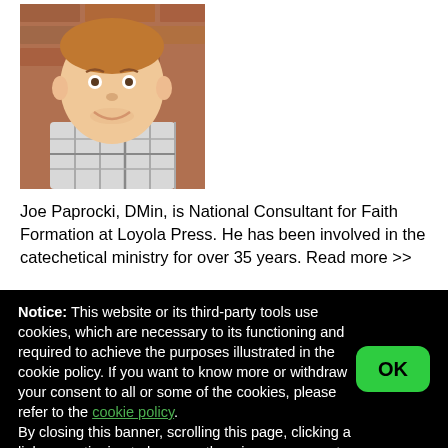[Figure (photo): Headshot of Joe Paprocki, a smiling man in a plaid shirt against a brick background]
Joe Paprocki, DMin, is National Consultant for Faith Formation at Loyola Press. He has been involved in the catechetical ministry for over 35 years. Read more >>
Notice: This website or its third-party tools use cookies, which are necessary to its functioning and required to achieve the purposes illustrated in the cookie policy. If you want to know more or withdraw your consent to all or some of the cookies, please refer to the cookie policy.
By closing this banner, scrolling this page, clicking a link or continuing to browse otherwise, you agree to the use of cookies.